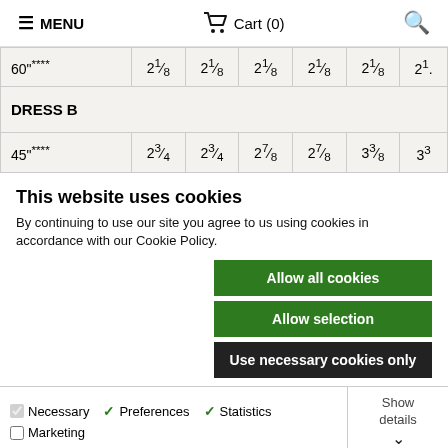≡ MENU   🛒 Cart (0)   🔍
| 60"**** | 2¹⁄₈ | 2¹⁄₈ | 2¹⁄₈ | 2¹⁄₈ | 2¹⁄₈ | 2¹⁄. |
| DRESS B |
| 45"**** | 2³⁄₄ | 2³⁄₄ | 2⁷⁄₈ | 2⁷⁄₈ | 3³⁄₈ | 3³ |
This website uses cookies
By continuing to use our site you agree to us using cookies in accordance with our Cookie Policy.
Allow all cookies
Allow selection
Use necessary cookies only
Necessary  ✓ Preferences  ✓ Statistics  ☐ Marketing  Show details ∨